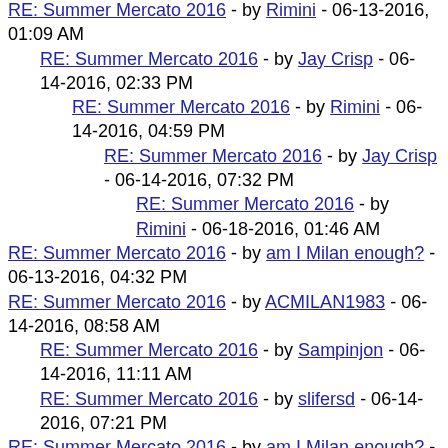RE: Summer Mercato 2016 - by Rimini - 06-13-2016, 01:09 AM
RE: Summer Mercato 2016 - by Jay Crisp - 06-14-2016, 02:33 PM
RE: Summer Mercato 2016 - by Rimini - 06-14-2016, 04:59 PM
RE: Summer Mercato 2016 - by Jay Crisp - 06-14-2016, 07:32 PM
RE: Summer Mercato 2016 - by Rimini - 06-18-2016, 01:46 AM
RE: Summer Mercato 2016 - by am I Milan enough? - 06-13-2016, 04:32 PM
RE: Summer Mercato 2016 - by ACMILAN1983 - 06-14-2016, 08:58 AM
RE: Summer Mercato 2016 - by Sampinjon - 06-14-2016, 11:11 AM
RE: Summer Mercato 2016 - by slifersd - 06-14-2016, 07:21 PM
RE: Summer Mercato 2016 - by am I Milan enough? - 06-14-2016, 10:46 AM
RE: Summer Mercato 2016 - by ACMILAN1983 - 06-14-2016, 01:08 PM
RE: Summer Mercato 2016 - by Rimini - 06-14-2016, 04:50 PM
RE: Summer Mercato 2016 - by am I Milan enough? - 06-14-2016, 06:22 PM